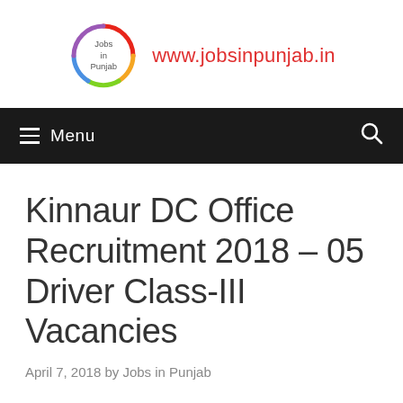[Figure (logo): Jobs in Punjab circular logo with rainbow-colored ring and website URL www.jobsinpunjab.in]
Menu
Kinnaur DC Office Recruitment 2018 – 05 Driver Class-III Vacancies
April 7, 2018 by Jobs in Punjab